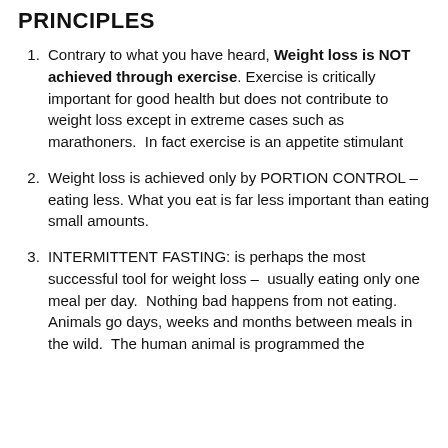PRINCIPLES
Contrary to what you have heard, Weight loss is NOT achieved through exercise. Exercise is critically important for good health but does not contribute to weight loss except in extreme cases such as marathoners. In fact exercise is an appetite stimulant
Weight loss is achieved only by PORTION CONTROL – eating less. What you eat is far less important than eating small amounts.
INTERMITTENT FASTING: is perhaps the most successful tool for weight loss – usually eating only one meal per day. Nothing bad happens from not eating. Animals go days, weeks and months between meals in the wild. The human animal is programmed the